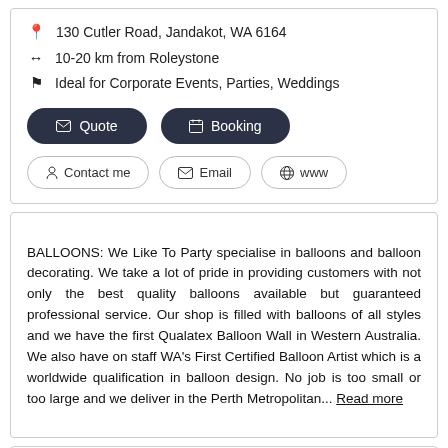📍 130 Cutler Road, Jandakot, WA 6164
↔ 10-20 km from Roleystone
⚑ Ideal for Corporate Events, Parties, Weddings
✉ Quote | 📅 Booking
👤 Contact me | ✉ Email | 🌐 www
BALLOONS: We Like To Party specialise in balloons and balloon decorating. We take a lot of pride in providing customers with not only the best quality balloons available but guaranteed professional service. Our shop is filled with balloons of all styles and we have the first Qualatex Balloon Wall in Western Australia. We also have on staff WA's First Certified Balloon Artist which is a worldwide qualification in balloon design. No job is too small or too large and we deliver in the Perth Metropolitan... Read more
Pt Cars Airport Direct